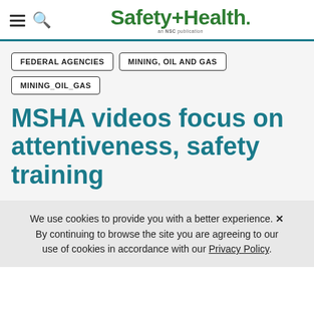Safety+Health
FEDERAL AGENCIES
MINING, OIL AND GAS
MINING_OIL_GAS
MSHA videos focus on attentiveness, safety training
We use cookies to provide you with a better experience. By continuing to browse the site you are agreeing to our use of cookies in accordance with our Privacy Policy.